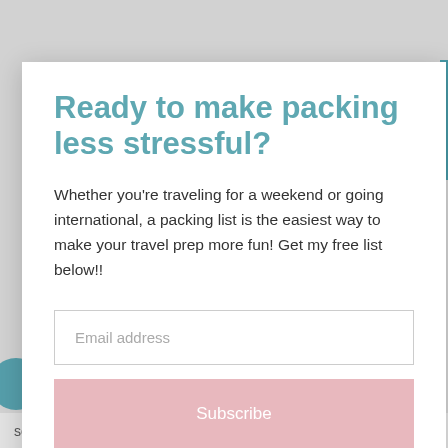Ready to make packing less stressful?
Whether you're traveling for a weekend or going international, a packing list is the easiest way to make your travel prep more fun! Get my free list below!!
Email address
Subscribe
some bags of tea and blender bottle with protein